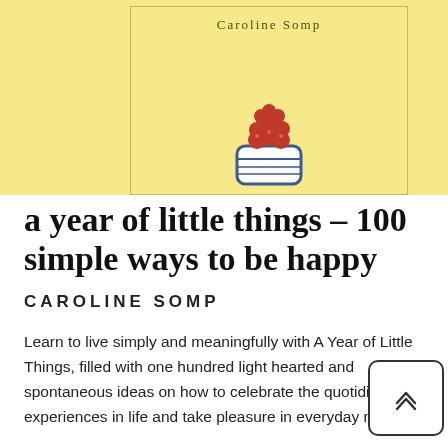[Figure (illustration): Book cover for 'A Year of Little Things' by Caroline Somp. Yellow background with a bowl of raspberries and author name at top.]
a year of little things – 100 simple ways to be happy
CAROLINE SOMP
Learn to live simply and meaningfully with A Year of Little Things, filled with one hundred light hearted and spontaneous ideas on how to celebrate the quotidian experiences in life and take pleasure in everyday magic.
ISBN: 978 0 312 55762 1